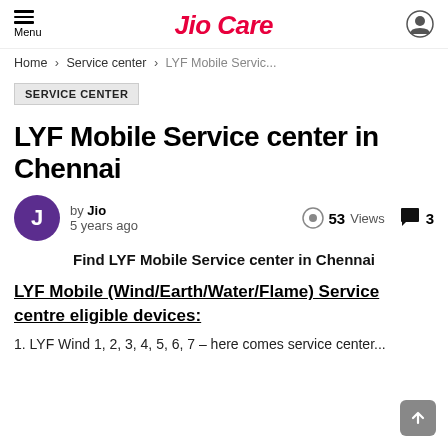Menu | Jio Care
Home › Service center › LYF Mobile Servic...
SERVICE CENTER
LYF Mobile Service center in Chennai
by Jio
5 years ago
53 Views
3 comments
Find LYF Mobile Service center in Chennai
LYF Mobile (Wind/Earth/Water/Flame) Service centre eligible devices:
1. LYF Wind 1, 2, 3, 4, 5, 6, 7 – here comes service center...